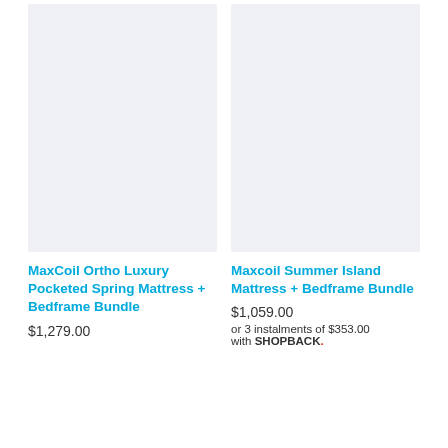[Figure (photo): Product image placeholder (light grey background) for MaxCoil Ortho Luxury Pocketed Spring Mattress + Bedframe Bundle]
MaxCoil Ortho Luxury Pocketed Spring Mattress + Bedframe Bundle
$1,279.00
[Figure (photo): Product image placeholder (light grey background) for Maxcoil Summer Island Mattress + Bedframe Bundle]
Maxcoil Summer Island Mattress + Bedframe Bundle
$1,059.00
or 3 instalments of $353.00 with SHOPBACK.